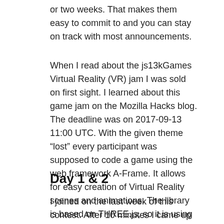or two weeks. That makes them easy to commit to and you can stay on track with most announcements.
When I read about the js13kGames Virtual Reality (VR) jam I was sold on first sight. I learned about this game jam on the Mozilla Hacks blog. The deadline was on 2017-09-13 11:00 UTC. With the given theme “lost” every participant was supposed to code a game using the web framework A-Frame. It allows for easy creation of Virtual Reality scenes and animations. The library is based on THREE.js, so it is using WebGl, which makes it run quite fast even on mobile devices. As further conditions every game for this game jam was not allowed to include any big, external libraries other than A-Frame and had to be no more than 13 kilobytes in gzipped size.
Day 1 & 2
I joined on the last week of this contest. After 10 minutes I came up with the idea of a goose being lost in a city, trying